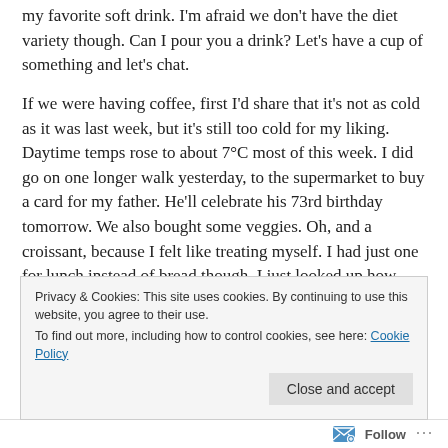my favorite soft drink. I'm afraid we don't have the diet variety though. Can I pour you a drink? Let's have a cup of something and let's chat.
If we were having coffee, first I'd share that it's not as cold as it was last week, but it's still too cold for my liking. Daytime temps rose to about 7°C most of this week. I did go on one longer walk yesterday, to the supermarket to buy a card for my father. He'll celebrate his 73rd birthday tomorrow. We also bought some veggies. Oh, and a croissant, because I felt like treating myself. I had just one for lunch instead of bread though. I just looked up how many calories are in one croissant and that's about as
Privacy & Cookies: This site uses cookies. By continuing to use this website, you agree to their use.
To find out more, including how to control cookies, see here: Cookie Policy
Close and accept